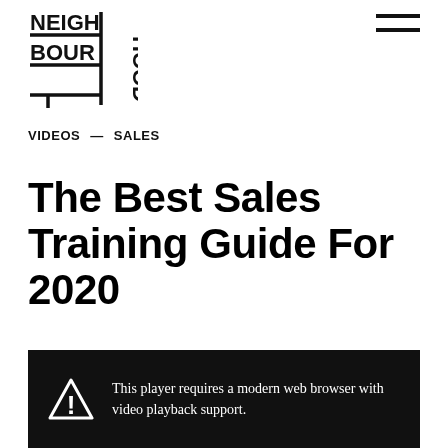[Figure (logo): Neighbourhood logo — geometric crosshatch mark with stacked text NEIGH/BOUR/HOOD in bold condensed font with horizontal and vertical lines forming a grid]
[Figure (other): Hamburger menu icon — two horizontal black bars]
VIDEOS — SALES
The Best Sales Training Guide For 2020
This player requires a modern web browser with video playback support.